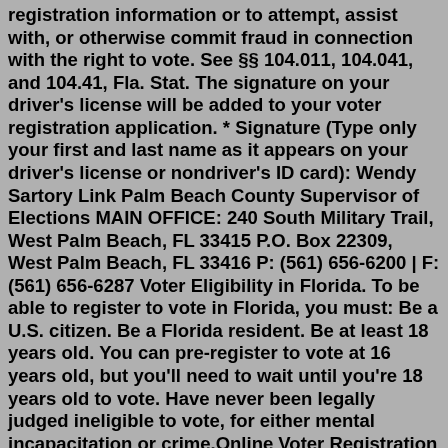registration information or to attempt, assist with, or otherwise commit fraud in connection with the right to vote. See §§ 104.011, 104.041, and 104.41, Fla. Stat. The signature on your driver's license will be added to your voter registration application. * Signature (Type only your first and last name as it appears on your driver's license or nondriver's ID card): Wendy Sartory Link Palm Beach County Supervisor of Elections MAIN OFFICE: 240 South Military Trail, West Palm Beach, FL 33415 P.O. Box 22309, West Palm Beach, FL 33416 P: (561) 656-6200 | F: (561) 656-6287 Voter Eligibility in Florida. To be able to register to vote in Florida, you must: Be a U.S. citizen. Be a Florida resident. Be at least 18 years old. You can pre-register to vote at 16 years old, but you'll need to wait until you're 18 years old to vote. Have never been legally judged ineligible to vote, for either mental incapacitation or crime.Online Voter Registration Submit an online application for new registration or an update to your existing record Register to Vote or Update your Information